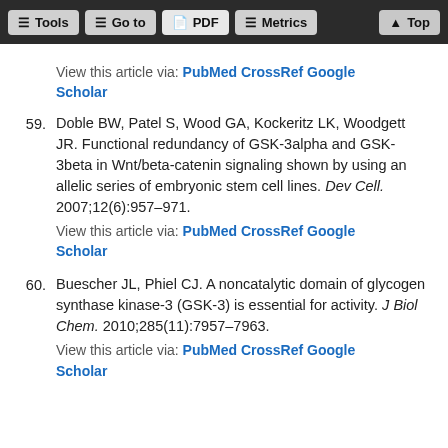Tools | Go to | PDF | Metrics | Top
View this article via: PubMed CrossRef Google Scholar
59. Doble BW, Patel S, Wood GA, Kockeritz LK, Woodgett JR. Functional redundancy of GSK-3alpha and GSK-3beta in Wnt/beta-catenin signaling shown by using an allelic series of embryonic stem cell lines. Dev Cell. 2007;12(6):957–971.
View this article via: PubMed CrossRef Google Scholar
60. Buescher JL, Phiel CJ. A noncatalytic domain of glycogen synthase kinase-3 (GSK-3) is essential for activity. J Biol Chem. 2010;285(11):7957–7963.
View this article via: PubMed CrossRef Google Scholar